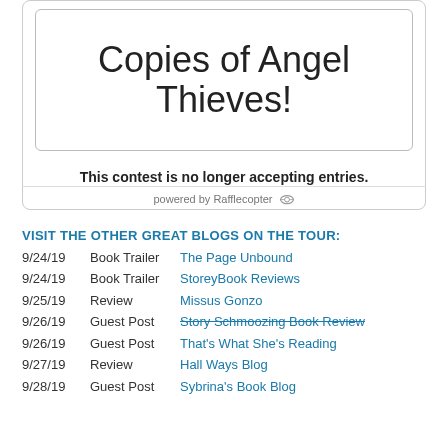Copies of Angel Thieves!
This contest is no longer accepting entries.
powered by Rafflecopter
VISIT THE OTHER GREAT BLOGS ON THE TOUR:
9/24/19  Book Trailer  The Page Unbound
9/24/19  Book Trailer  StoreyBook Reviews
9/25/19  Review  Missus Gonzo
9/26/19  Guest Post  Story Schmoozing Book Reviews
9/26/19  Guest Post  That's What She's Reading
9/27/19  Review  Hall Ways Blog
9/28/19  Guest Post  Sybrina's Book Blog